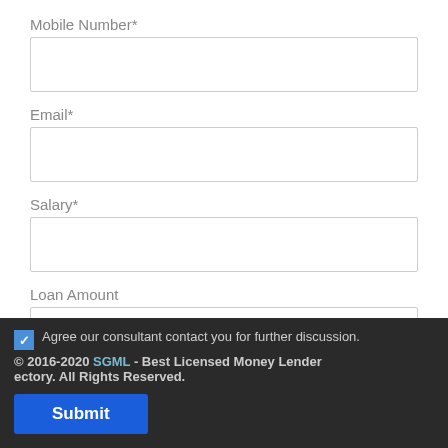Mobile Number*
Email*
Salary*
Loan Amount
Residency Status*
Agree our consultant contact you for further discussion.
© 2016-2020 SGML - Best Licensed Money Lender ectory. All Rights Reserved.
Submit